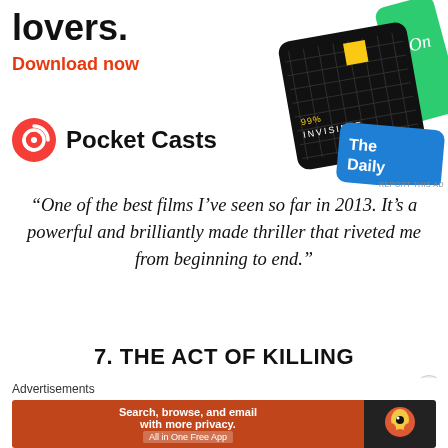[Figure (screenshot): Pocket Casts app advertisement banner showing podcast app cards including '99% Invisible' and 'The Daily', with bold text 'lovers.' and 'Download now' in orange, and the Pocket Casts logo]
“One of the best films I’ve seen so far in 2013. It’s a powerful and brilliantly made thriller that riveted me from beginning to end.”
7. THE ACT OF KILLING
[Figure (screenshot): Dark maroon/burgundy movie still strip for 'The Act of Killing']
Advertisements
[Figure (screenshot): DuckDuckGo advertisement: 'Search, browse, and email with more privacy. All in One Free App' with DuckDuckGo logo on dark background]